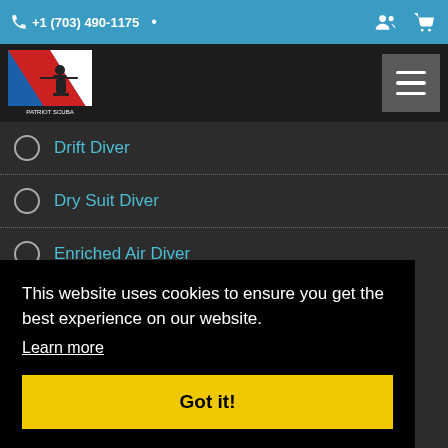+1 (703) 490-1175
[Figure (logo): Patriot Scuba logo with diver and US flag motif]
Drift Diver
Dry Suit Diver
Enriched Air Diver
This website uses cookies to ensure you get the best experience on our website.
Learn more
Got it!